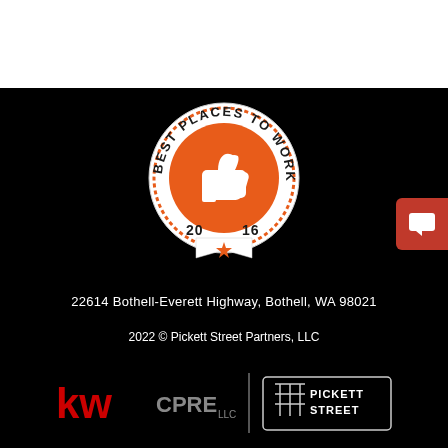[Figure (logo): Best Places to Work 2016 badge — circular badge with orange center containing a white thumbs-up icon, text 'BEST PLACES TO WORK' around the top arc, '2016' at the bottom, decorative ribbon below]
22614 Bothell-Everett Highway, Bothell, WA 98021
2022 © Pickett Street Partners, LLC
[Figure (logo): KW CPRE LLC logo in red and gray on left; Pickett Street logo on right with fence icon; separated by a vertical divider line]